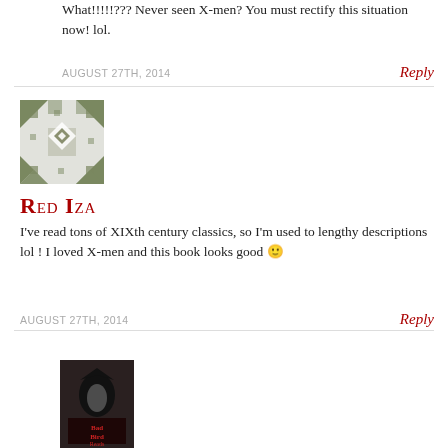What!!!!!??? Never seen X-men? You must rectify this situation now! lol.
AUGUST 27TH, 2014
Reply
[Figure (illustration): Geometric patterned avatar image in olive/grey tones with diamond and angular shapes]
Red Iza
I've read tons of XIXth century classics, so I'm used to lengthy descriptions lol ! I loved X-men and this book looks good 🙂
AUGUST 27TH, 2014
Reply
[Figure (photo): Book cover for 'Bad Bird Reads' showing a dark stylized bird figure with red text]